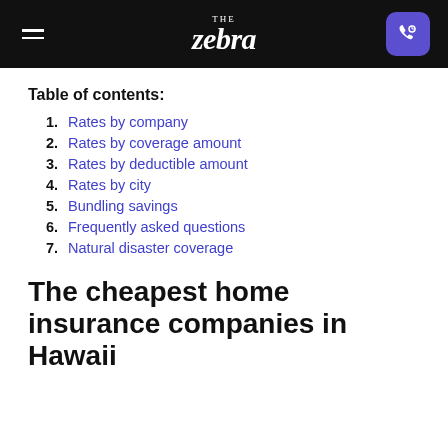THE zebra
Table of contents:
1. Rates by company
2. Rates by coverage amount
3. Rates by deductible amount
4. Rates by city
5. Bundling savings
6. Frequently asked questions
7. Natural disaster coverage
The cheapest home insurance companies in Hawaii